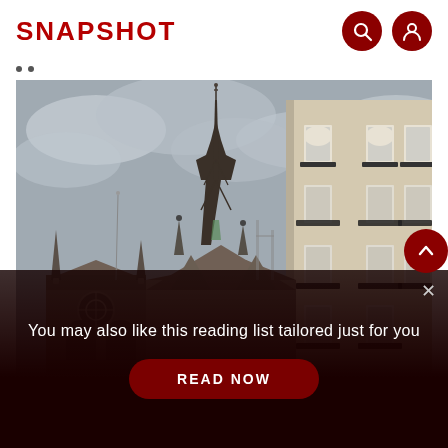SNAPSHOT
[Figure (photo): Photograph of Notre-Dame Cathedral spire and a classic Haussmann-style Parisian building against a cloudy grey sky. The gothic spire rises prominently in the center, with decorative ironwork balconies on the beige stone building to the right.]
You may also like this reading list tailored just for you
READ NOW